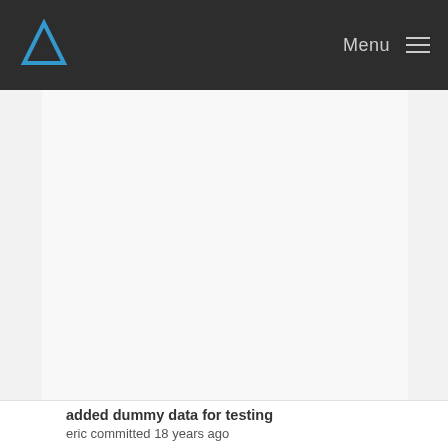Menu
[Figure (screenshot): Large blank/empty content area with light gray background, bordered by thin vertical lines on left and right sides, representing a webpage content region.]
added dummy data for testing
eric committed 18 years ago